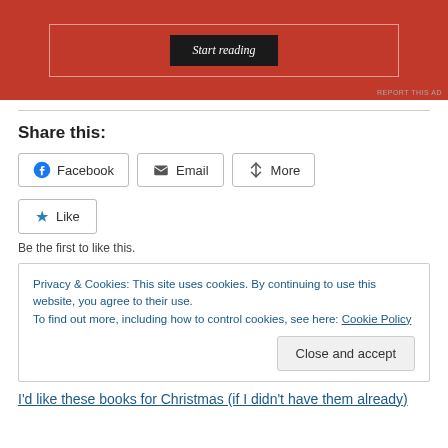[Figure (screenshot): Red advertisement banner with a 'Start reading' button in black, bordered by white outline. 'REPORT THIS AD' text at bottom right.]
Share this:
Facebook   Email   More
Like
Be the first to like this.
Privacy & Cookies: This site uses cookies. By continuing to use this website, you agree to their use.
To find out more, including how to control cookies, see here: Cookie Policy
[Close and accept]
I'd like these books for Christmas (if I didn't have them already)